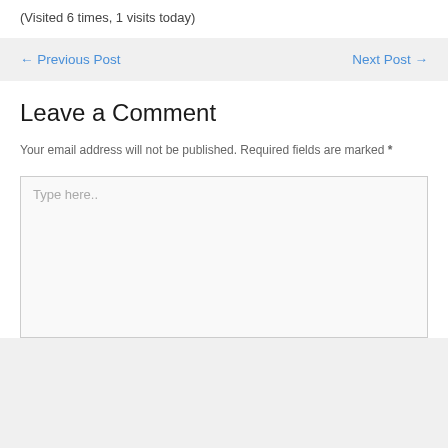(Visited 6 times, 1 visits today)
← Previous Post
Next Post →
Leave a Comment
Your email address will not be published. Required fields are marked *
Type here..